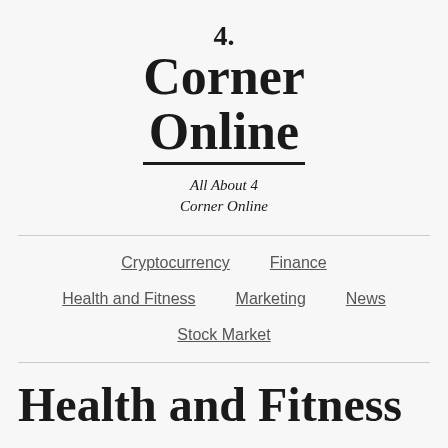4.
Corner
Online
All About 4 Corner Online
Cryptocurrency
Finance
Health and Fitness
Marketing
News
Stock Market
Health and Fitness